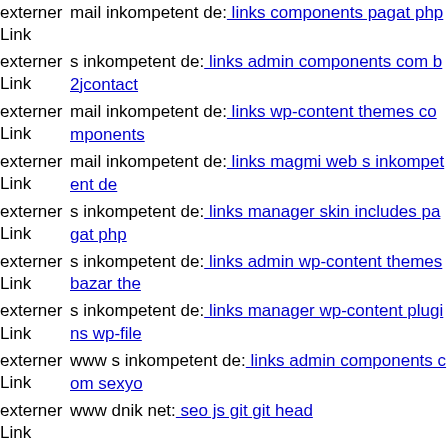externer Link  mail inkompetent de: links components pagat php
externer Link  s inkompetent de: links admin components com b2jcontact
externer Link  mail inkompetent de: links wp-content themes components
externer Link  mail inkompetent de: links magmi web s inkompetent de
externer Link  s inkompetent de: links manager skin includes pagat php
externer Link  s inkompetent de: links admin wp-content themes bazar the
externer Link  s inkompetent de: links manager wp-content plugins wp-file
externer Link  www s inkompetent de: links admin components com sexyo
externer Link  www dnik net: seo js git git head
externer Link  www dnik net: seo wp-content plugins components com b2
externer Link  s inkompetent de: links manager wp-content themes photob